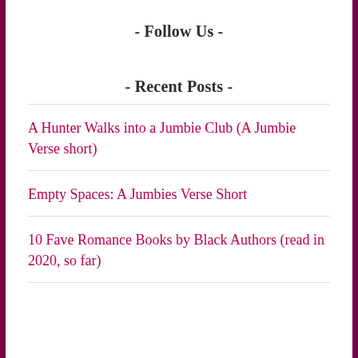- Follow Us -
- Recent Posts -
A Hunter Walks into a Jumbie Club (A Jumbie Verse short)
Empty Spaces: A Jumbies Verse Short
10 Fave Romance Books by Black Authors (read in 2020, so far)